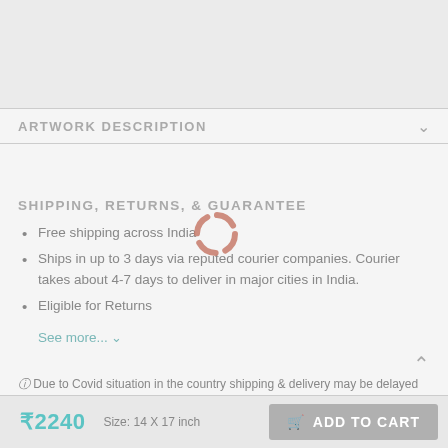ARTWORK DESCRIPTION
SHIPPING, RETURNS, & GUARANTEE
Free shipping across India
Ships in up to 3 days via reputed courier companies. Courier takes about 4-7 days to deliver in major cities in India.
Eligible for Returns
See more...
Due to Covid situation in the country shipping & delivery may be delayed more than usual.
₹2240
Size: 14 X 17 inch
ADD TO CART